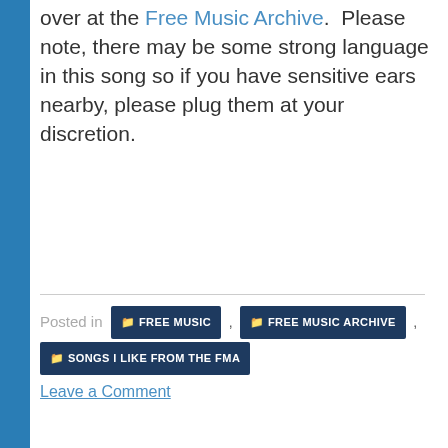over at the Free Music Archive.  Please note, there may be some strong language in this song so if you have sensitive ears nearby, please plug them at your discretion.
Posted in  FREE MUSIC ,  FREE MUSIC ARCHIVE ,  SONGS I LIKE FROM THE FMA
Leave a Comment
New Year's Resolutio...   Weekly Airwave #22...
This website uses cookies to improve your experience. We'll assume you're ok with this, but you can opt-out if you wish.
Cookie settings   ACCEPT